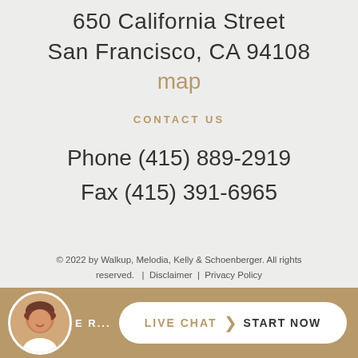650 California Street
San Francisco, CA 94108
map
CONTACT US
Phone (415) 889-2919
Fax (415) 391-6965
© 2022 by Walkup, Melodia, Kelly & Schoenberger. All rights reserved.  |  Disclaimer  |  Privacy Policy
[Figure (other): Live chat bar with avatar photo of woman, button showing LIVE CHAT > START NOW]